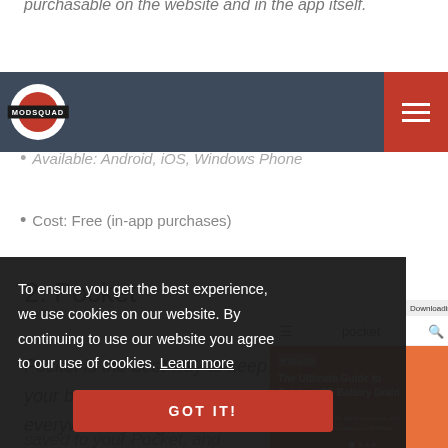purchasable on the website and in the app itself.
Get it: Evernote.com
Available: Android, iOS, Windows Phone
Cost: Free (in-app purchases)
2. Pocket
Pocket is the best way to keep your bookmarks with you everywhere you go. Have a
[Figure (screenshot): Screenshot of the Pocket app showing 'The Ultimate Guide to Solving iOS Battery Drain' article and other content items]
To ensure you get the best experience, we use cookies on our website. By continuing to use our website you agree to our use of cookies. Learn more
GOT IT!
saved to your Pocket, and